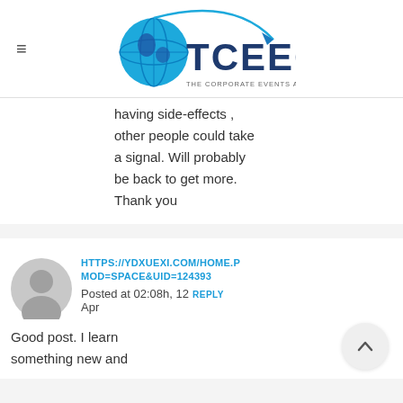[Figure (logo): TCEEG logo with globe and arrow, subtitle: THE CORPORATE EVENTS AND ENTERTAINMENT GROUP]
having side-effects , other people could take a signal. Will probably be back to get more. Thank you
HTTPS://YDXUEXI.COM/HOME.PHP?MOD=SPACE&UID=124393
Posted at 02:08h, 12 Apr  REPLY
Good post. I learn something new and